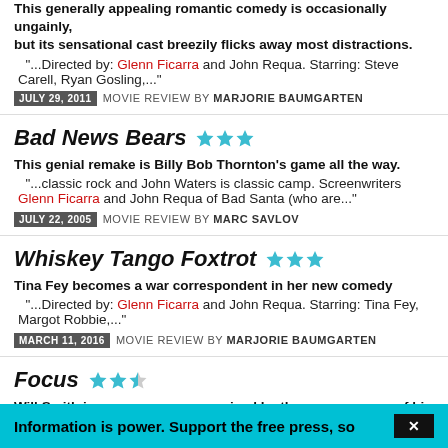This generally appealing romantic comedy is occasionally ungainly, but its sensational cast breezily flicks away most distractions.
"...Directed by: Glenn Ficarra and John Requa. Starring: Steve Carell, Ryan Gosling,..."
JULY 29, 2011 MOVIE REVIEW BY MARJORIE BAUMGARTEN
Bad News Bears ★★★
This genial remake is Billy Bob Thornton's game all the way.
"...classic rock and John Waters is classic camp. Screenwriters Glenn Ficarra and John Requa of Bad Santa (who are..."
JULY 22, 2005 MOVIE REVIEW BY MARC SAVLOV
Whiskey Tango Foxtrot ★★★
Tina Fey becomes a war correspondent in her new comedy
"...Directed by: Glenn Ficarra and John Requa. Starring: Tina Fey, Margot Robbie,..."
MARCH 11, 2016 MOVIE REVIEW BY MARJORIE BAUMGARTEN
Focus ★★½
Will Smith is a con man compromised by the reappearance of his shady ex.
"...Directed by: Glenn Ficarra and John Requa. Starring: Will ..."
Information is power. Support the free press, so